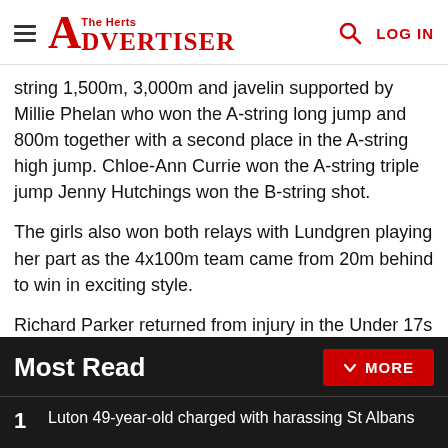The Herts Advertiser
string 1,500m, 3,000m and javelin supported by Millie Phelan who won the A-string long jump and 800m together with a second place in the A-string high jump. Chloe-Ann Currie won the A-string triple jump Jenny Hutchings won the B-string shot.
The girls also won both relays with Lundgren playing her part as the 4x100m team came from 20m behind to win in exciting style.
Richard Parker returned from injury in the Under 17s 3,000m with a time of 10.11.4 to complete a win double in the event with David Wilson.
Most Read
Luton 49-year-old charged with harassing St Albans